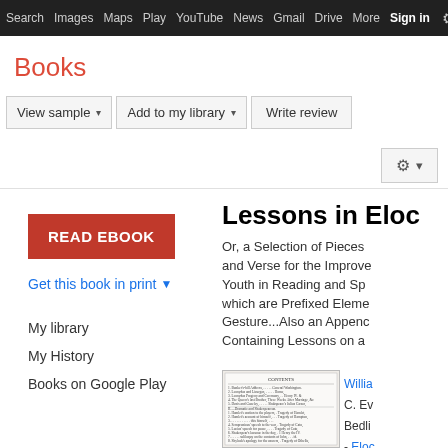Search  Images  Maps  Play  YouTube  News  Gmail  Drive  More  Sign in  ⚙
Books
View sample ▾   Add to my library ▾   Write review
READ EBOOK
Get this book in print ▼
My library
My History
Books on Google Play
Lessons in Eloc
Or, a Selection of Pieces and Verse for the Improvement of Youth in Reading and Sp... which are Prefixed Elements of Gesture...Also an Appendix Containing Lessons on a
[Figure (photo): Thumbnail image of book contents page showing table of contents text]
Willia
C. Ev
Bedli
- Eloc
page